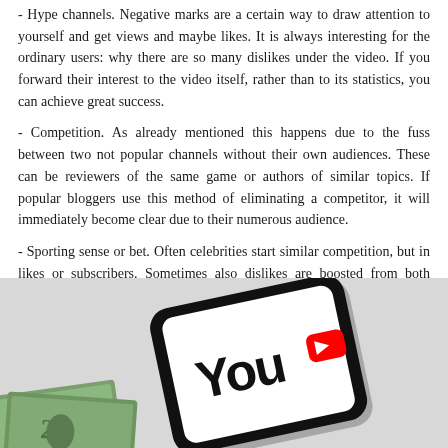- Hype channels. Negative marks are a certain way to draw attention to yourself and get views and maybe likes. It is always interesting for the ordinary users: why there are so many dislikes under the video. If you forward their interest to the video itself, rather than to its statistics, you can achieve great success.
- Competition. As already mentioned this happens due to the fuss between two not popular channels without their own audiences. These can be reviewers of the same game or authors of similar topics. If popular bloggers use this method of eliminating a competitor, it will immediately become clear due to their numerous audience.
- Sporting sense or bet. Often celebrities start similar competition, but in likes or subscribers. Sometimes also dislikes are boosted from both parties.
[Figure (photo): A smartphone displaying the YouTube logo/app on its screen, angled at roughly 12 degrees, with money bills visible in the bottom left corner, on a light gray background.]